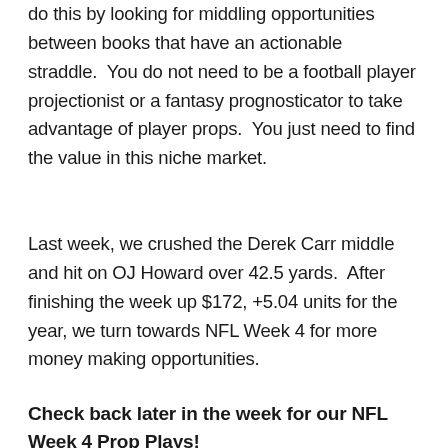do this by looking for middling opportunities between books that have an actionable straddle.  You do not need to be a football player projectionist or a fantasy prognosticator to take advantage of player props.  You just need to find the value in this niche market.
Last week, we crushed the Derek Carr middle and hit on OJ Howard over 42.5 yards.  After finishing the week up $172, +5.04 units for the year, we turn towards NFL Week 4 for more money making opportunities.
Check back later in the week for our NFL Week 4 Prop Plays!